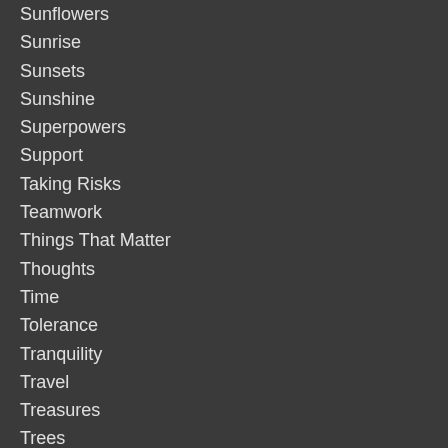Sunflowers
Sunrise
Sunsets
Sunshine
Superpowers
Support
Taking Risks
Teamwork
Things That Matter
Thoughts
Time
Tolerance
Tranquility
Travel
Treasures
Trees
Trust
Truth
Unity
Universe
Vacations